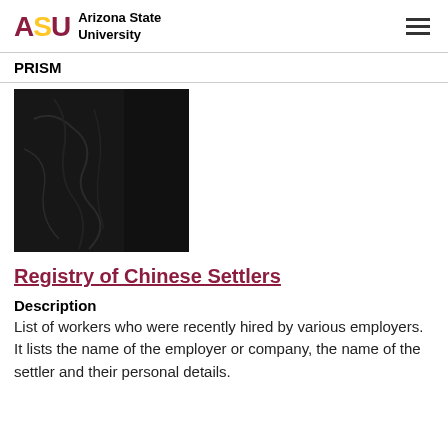ASU Arizona State University
PRISM
[Figure (photo): Scanned document cover page with dark/black plastic or leather material, showing a label tag at top and two hole punches on right side]
Registry of Chinese Settlers
Description
List of workers who were recently hired by various employers. It lists the name of the employer or company, the name of the settler and their personal details.